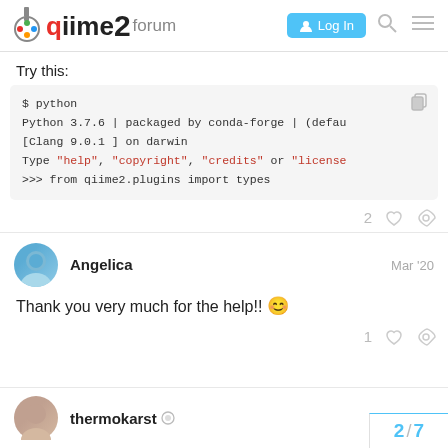qiime2 forum | Log In
Try this:
[Figure (screenshot): Code block showing Python session: $ python, Python 3.7.6 | packaged by conda-forge | (defau, [Clang 9.0.1 ] on darwin, Type "help", "copyright", "credits" or "license", >>> from qiime2.plugins import types]
2 likes, link icon
Angelica  Mar '20
Thank you very much for the help!! 😊
1 like, link icon
2 / 7
thermokarst